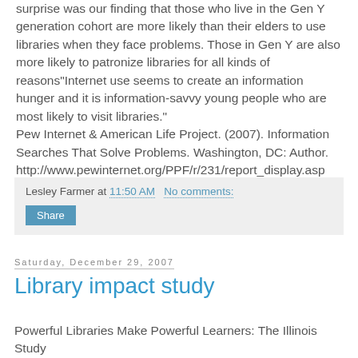surprise was our finding that those who live in the Gen Y generation cohort are more likely than their elders to use libraries when they face problems. Those in Gen Y are also more likely to patronize libraries for all kinds of reasons"Internet use seems to create an information hunger and it is information-savvy young people who are most likely to visit libraries." Pew Internet & American Life Project. (2007). Information Searches That Solve Problems. Washington, DC: Author. http://www.pewinternet.org/PPF/r/231/report_display.asp
Lesley Farmer at 11:50 AM   No comments:
Share
Saturday, December 29, 2007
Library impact study
Powerful Libraries Make Powerful Learners: The Illinois Study
This Illinois State study links student achievement (e.g., test...